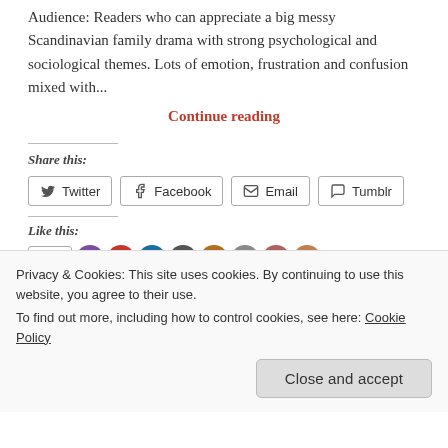Audience: Readers who can appreciate a big messy Scandinavian family drama with strong psychological and sociological themes. Lots of emotion, frustration and confusion mixed with...
Continue reading
Share this:
Twitter  Facebook  Email  Tumblr
Like this:
Privacy & Cookies: This site uses cookies. By continuing to use this website, you agree to their use.
To find out more, including how to control cookies, see here: Cookie Policy
Close and accept